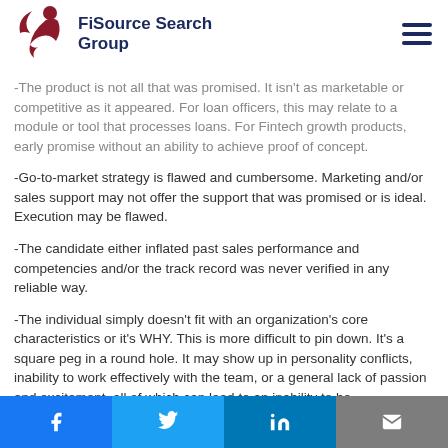FiSource Search Group
-The product is not all that was promised. It isn't as marketable or competitive as it appeared. For loan officers, this may relate to a module or tool that processes loans. For Fintech growth products, early promise without an ability to achieve proof of concept.
-Go-to-market strategy is flawed and cumbersome. Marketing and/or sales support may not offer the support that was promised or is ideal. Execution may be flawed.
-The candidate either inflated past sales performance and competencies and/or the track record was never verified in any reliable way.
-The individual simply doesn't fit with an organization's core characteristics or it's WHY. This is more difficult to pin down. It's a square peg in a round hole. It may show up in personality conflicts, inability to work effectively with the team, or a general lack of passion and excitement, all of which can lead to an inability to be
Social share bar: Facebook, Twitter, LinkedIn, Email